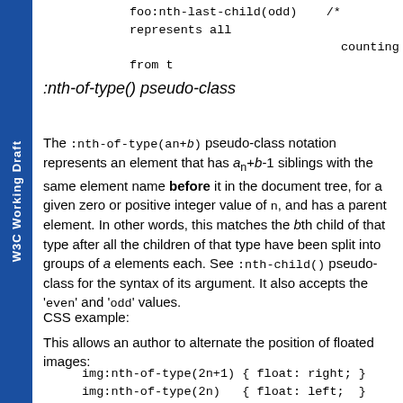foo:nth-last-child(odd)    /* represents all
                                counting from t
:nth-of-type() pseudo-class
The :nth-of-type(an+b) pseudo-class notation represents an element that has an+b-1 siblings with the same element name before it in the document tree, for a given zero or positive integer value of n, and has a parent element. In other words, this matches the bth child of that type after all the children of that type have been split into groups of a elements each. See :nth-child() pseudo-class for the syntax of its argument. It also accepts the 'even' and 'odd' values.
CSS example:
This allows an author to alternate the position of floated images:
img:nth-of-type(2n+1) { float: right; }
img:nth-of-type(2n) { float: left; }